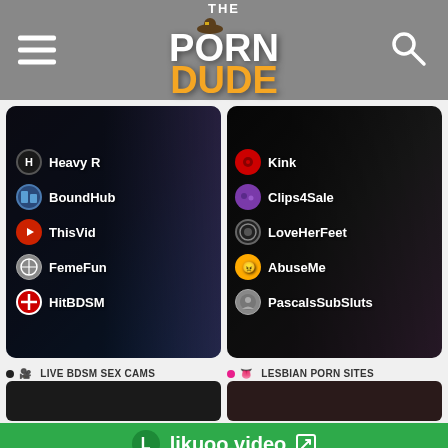The Porn Dude
[Figure (screenshot): BDSM porn sites card with site list: Heavy R, BoundHub, ThisVid, FemeFun, HitBDSM]
[Figure (screenshot): BDSM/fetish porn sites card with site list: Kink, Clips4Sale, LoveHerFeet, AbuseMe, PascalsSubSluts]
LIVE BDSM SEX CAMS
LESBIAN PORN SITES
[Figure (screenshot): Preview thumbnail for Live BDSM Sex Cams]
[Figure (screenshot): Preview thumbnail for Lesbian Porn Sites]
likuoo.video
3586+
All Porn Sites
137+
Free Porn Tube Sites